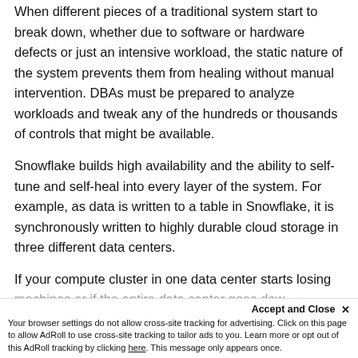When different pieces of a traditional system start to break down, whether due to software or hardware defects or just an intensive workload, the static nature of the system prevents them from healing without manual intervention. DBAs must be prepared to analyze workloads and tweak any of the hundreds or thousands of controls that might be available.
Snowflake builds high availability and the ability to self-tune and self-heal into every layer of the system. For example, as data is written to a table in Snowflake, it is synchronously written to highly durable cloud storage in three different data centers.
If your compute cluster in one data center starts losing machines or if the entire data center goes down, Snowflake will be able to allow access to that data still...
Accept and Close ×
Your browser settings do not allow cross-site tracking for advertising. Click on this page to allow AdRoll to use cross-site tracking to tailor ads to you. Learn more or opt out of this AdRoll tracking by clicking here. This message only appears once.